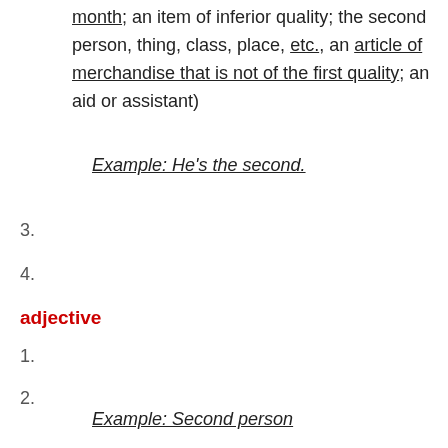month; an item of inferior quality; the second person, thing, class, place, etc., an article of merchandise that is not of the first quality; an aid or assistant)
Example: He's the second.
3.
4.
adjective
1.
2.
Example: Second person
3.
4.  (Next after first; another after the first, of a secondary